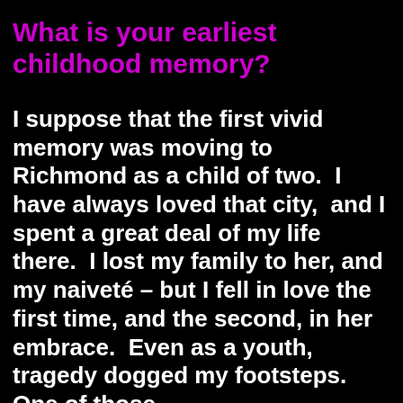What is your earliest childhood memory?
I suppose that the first vivid memory was moving to Richmond as a child of two.  I have always loved that city,  and I spent a great deal of my life there.  I lost my family to her, and my naiveté – but I fell in love the first time, and the second, in her embrace.  Even as a youth, tragedy dogged my footsteps.  One of those